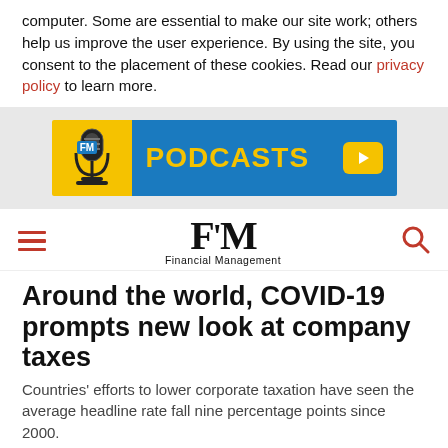computer. Some are essential to make our site work; others help us improve the user experience. By using the site, you consent to the placement of these cookies. Read our privacy policy to learn more.
[Figure (infographic): FM Podcasts banner advertisement with microphone icon on yellow background and blue background with yellow text reading PODCASTS and a yellow play button]
[Figure (logo): FM Financial Management logo with hamburger menu icon on left and search icon on right]
Around the world, COVID-19 prompts new look at company taxes
Countries' efforts to lower corporate taxation have seen the average headline rate fall nine percentage points since 2000.
By Leigh Thomas (Reuters)